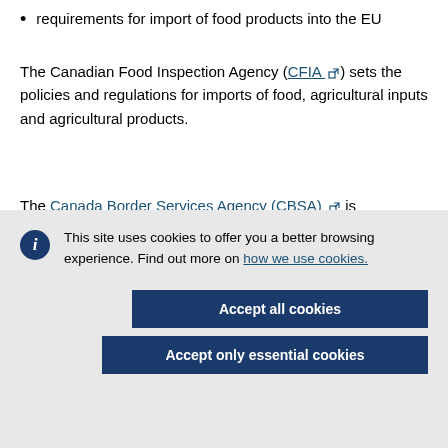requirements for import of food products into the EU
The Canadian Food Inspection Agency (CFIA) sets the policies and regulations for imports of food, agricultural inputs and agricultural products.
The Canada Border Services Agency (CBSA) is
This site uses cookies to offer you a better browsing experience. Find out more on how we use cookies.
Accept all cookies
Accept only essential cookies